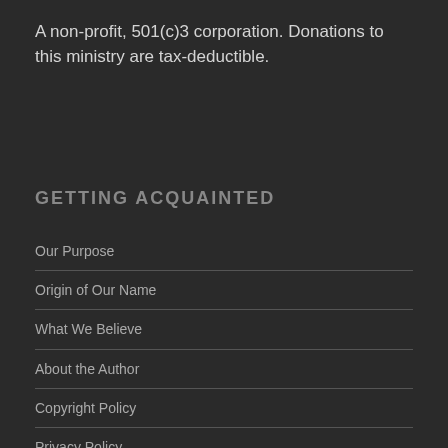A non-profit, 501(c)3 corporation. Donations to this ministry are tax-deductible.
GETTING ACQUAINTED
Our Purpose
Origin of Our Name
What We Believe
About the Author
Copyright Policy
Privacy Policy
Terms of Use